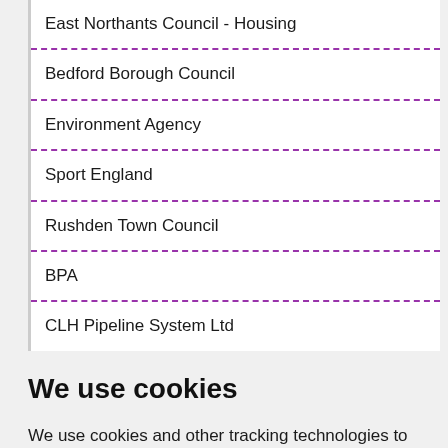East Northants Council - Housing
Bedford Borough Council
Environment Agency
Sport England
Rushden Town Council
BPA
CLH Pipeline System Ltd
We use cookies
We use cookies and other tracking technologies to improve your browsing experience on our website, to show you personalized content and targeted ads, to analyze our website traffic, and